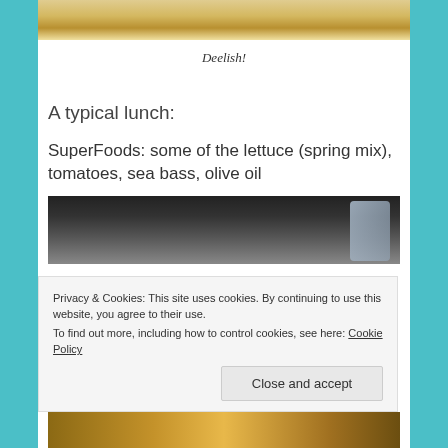[Figure (photo): Top portion of a food photo, showing what appears to be a dish with yellow/golden food item]
Deelish!
A typical lunch:
SuperFoods: some of the lettuce (spring mix), tomatoes, sea bass, olive oil
[Figure (photo): Dark background food photo with glass container visible on the right]
Privacy & Cookies: This site uses cookies. By continuing to use this website, you agree to their use.
To find out more, including how to control cookies, see here: Cookie Policy
[Figure (photo): Bottom food photo showing colorful dish]